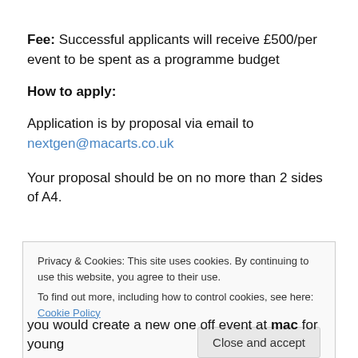Fee: Successful applicants will receive £500/per event to be spent as a programme budget
How to apply:
Application is by proposal via email to nextgen@macarts.co.uk
Your proposal should be on no more than 2 sides of A4.
Privacy & Cookies: This site uses cookies. By continuing to use this website, you agree to their use. To find out more, including how to control cookies, see here: Cookie Policy
you would create a new one off event at mac for young